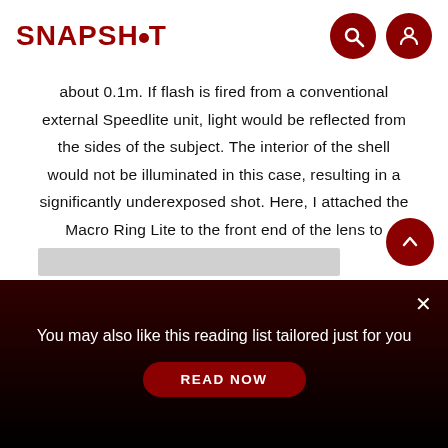SNAPSHOT
about 0.1m. If flash is fired from a conventional external Speedlite unit, light would be reflected from the sides of the subject. The interior of the shell would not be illuminated in this case, resulting in a significantly underexposed shot. Here, I attached the Macro Ring Lite to the front end of the lens to brighten the inside of the shell.
[Figure (photo): Gray image placeholder bar at bottom of content area]
You may also like this reading list tailored just for you
READ NOW